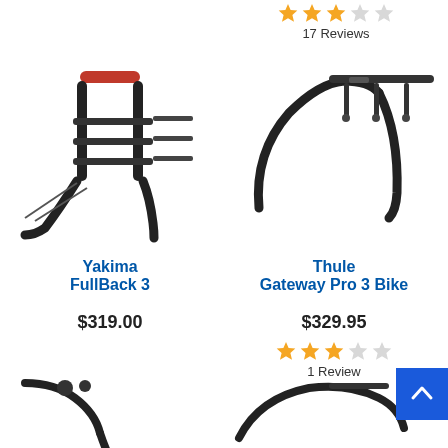[Figure (photo): Star rating showing approximately 3 out of 5 stars (orange/filled) for a product at top right area, with text '17 Reviews' below]
17 Reviews
[Figure (photo): Yakima FullBack 3 bike rack product photo - black trunk-mounted bike carrier]
[Figure (photo): Thule Gateway Pro 3 Bike rack product photo - black trunk-mounted bike carrier]
Yakima
FullBack 3
Thule
Gateway Pro 3 Bike
$319.00
$329.95
[Figure (photo): Star rating showing approximately 3 out of 5 stars (orange/filled) for Thule Gateway Pro 3 Bike, with text '1 Review' below]
1 Review
[Figure (photo): Partial product photo at bottom left - bike rack, cropped]
[Figure (photo): Partial product photo at bottom right - bike rack, cropped]